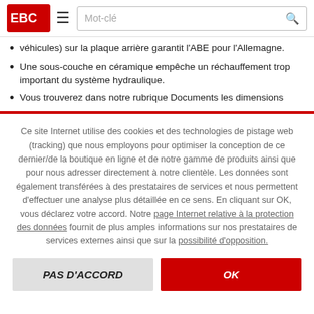[Figure (logo): Website logo in top left corner, red background]
Mot-clé (search bar with hamburger menu)
véhicules) sur la plaque arrière garantit l'ABE pour l'Allemagne.
Une sous-couche en céramique empêche un réchauffement trop important du système hydraulique.
Vous trouverez dans notre rubrique Documents les dimensions
Ce site Internet utilise des cookies et des technologies de pistage web (tracking) que nous employons pour optimiser la conception de ce dernier/de la boutique en ligne et de notre gamme de produits ainsi que pour nous adresser directement à notre clientèle. Les données sont également transférées à des prestataires de services et nous permettent d'effectuer une analyse plus détaillée en ce sens. En cliquant sur OK, vous déclarez votre accord. Notre page Internet relative à la protection des données fournit de plus amples informations sur nos prestataires de services externes ainsi que sur la possibilité d'opposition.
PAS D'ACCORD
OK